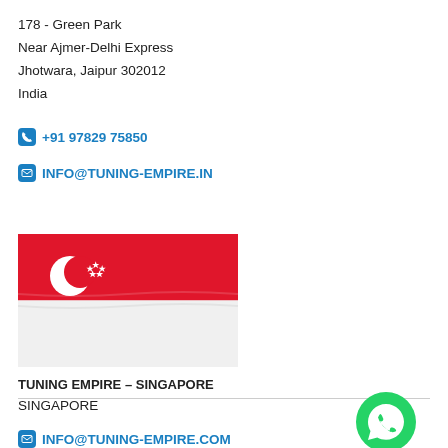178 - Green Park
Near Ajmer-Delhi Express
Jhotwara, Jaipur 302012
India
+91 97829 75850
INFO@TUNING-EMPIRE.IN
[Figure (photo): Singapore flag with red and white horizontal bands, crescent moon and five stars on red portion]
TUNING EMPIRE – SINGAPORE
SINGAPORE
[Figure (logo): WhatsApp green circular logo with phone handset icon]
INFO@TUNING-EMPIRE.COM